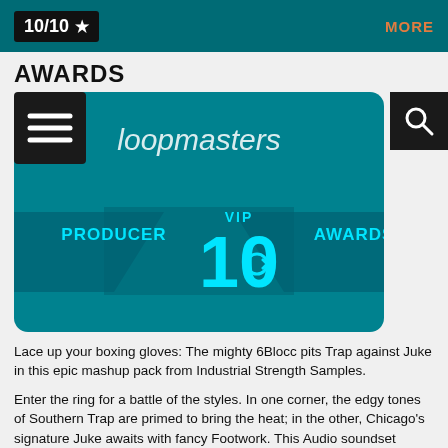10/10 ★   MORE
AWARDS
[Figure (screenshot): Loopmasters VIP Producer 10 Awards badge on teal background with hamburger menu icon on left and search icon on right]
Lace up your boxing gloves: The mighty 6Blocc pits Trap against Juke in this epic mashup pack from Industrial Strength Samples.
Enter the ring for a battle of the styles. In one corner, the edgy tones of Southern Trap are primed to bring the heat; in the other, Chicago's signature Juke awaits with fancy Footwork. This Audio soundset dukes it out in your Daw with tenacious Loops, dirty Effects, and deep Sub Bass. You'll also find cinematic Synth Loops and tight Synth Bass, along with critical One Shots and Drum Loops for round upon round of ear-busting blows.
Throw sonic punches in Trap, Juke, Dirty South, Hip-Hop, Dub, Footworkz and any modern EDM style. This pack is ready to strike Ni Battery 4, Maschine, Kontakt and Logic Esx with 24-bit, 44.1 kHz audio precision. Choose your moves in Wav, Apple Loops, and of course Rex 2. The Samples are tempo-